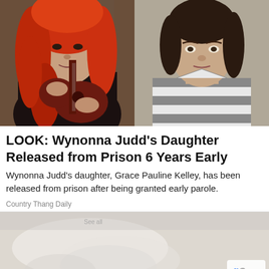[Figure (photo): Two side-by-side photos: left shows a woman with long red hair holding a dark electric guitar wearing black clothing; right shows a woman in a black-and-white striped jail uniform (mugshot style)]
LOOK: Wynonna Judd's Daughter Released from Prison 6 Years Early
Wynonna Judd's daughter, Grace Pauline Kelley, has been released from prison after being granted early parole.
Country Thang Daily
[Figure (photo): Partially visible image at the bottom, appears to show a person, with a reCAPTCHA badge in the lower right corner displaying the Google reCAPTCHA logo and 'Privacy - Terms' text]